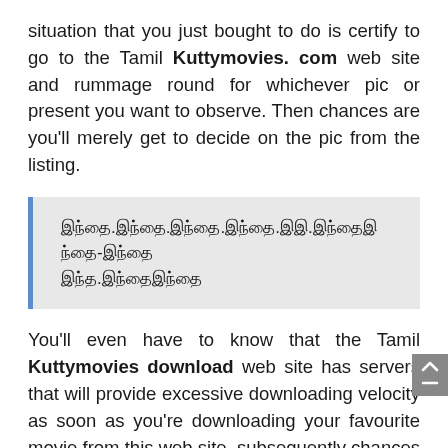situation that you just bought to do is certify to go to the Tamil Kuttymovies. com web site and rummage round for whichever pic or present you want to observe. Then chances are you'll merely get to decide on the pic from the listing.
[Tamil script text block]
You'll even have to know that the Tamil Kuttymovies download web site has servers that will provide excessive downloading velocity as soon as you're downloading your favourite movie from this web site. subsequently chances are you'll not get to fret relating to the dearth of